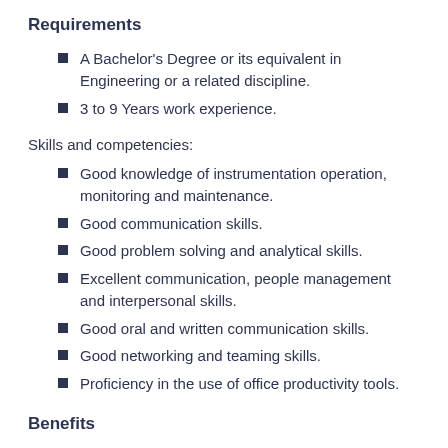Requirements
A Bachelor's Degree or its equivalent in Engineering or a related discipline.
3 to 9 Years work experience.
Skills and competencies:
Good knowledge of instrumentation operation, monitoring and maintenance.
Good communication skills.
Good problem solving and analytical skills.
Excellent communication, people management and interpersonal skills.
Good oral and written communication skills.
Good networking and teaming skills.
Proficiency in the use of office productivity tools.
Benefits
Private Health Insurance